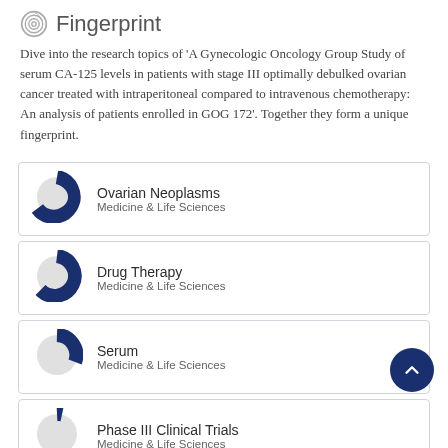Fingerprint
Dive into the research topics of 'A Gynecologic Oncology Group Study of serum CA-125 levels in patients with stage III optimally debulked ovarian cancer treated with intraperitoneal compared to intravenous chemotherapy: An analysis of patients enrolled in GOG 172'. Together they form a unique fingerprint.
[Figure (infographic): Donut chart showing ~80% fill for Ovarian Neoplasms, Medicine & Life Sciences]
[Figure (infographic): Donut chart showing ~55% fill for Drug Therapy, Medicine & Life Sciences]
[Figure (infographic): Donut chart showing ~40% fill for Serum, Medicine & Life Sciences]
[Figure (infographic): Donut chart showing ~15% fill for Phase III Clinical Trials, Medicine & Life Sciences]